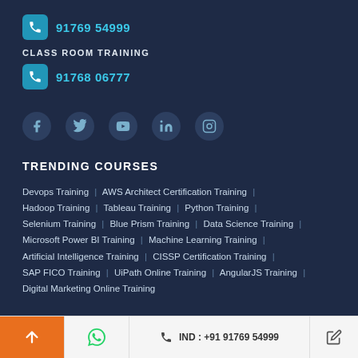91769 54999
CLASS ROOM TRAINING
91768 06777
[Figure (infographic): Social media icons row: Facebook, Twitter, YouTube, LinkedIn, Instagram]
TRENDING COURSES
Devops Training | AWS Architect Certification Training | Hadoop Training | Tableau Training | Python Training | Selenium Training | Blue Prism Training | Data Science Training | Microsoft Power BI Training | Machine Learning Training | Artificial Intelligence Training | CISSP Certification Training | SAP FICO Training | UiPath Online Training | AngularJS Training | Digital Marketing Online Training
IND : +91 91769 54999